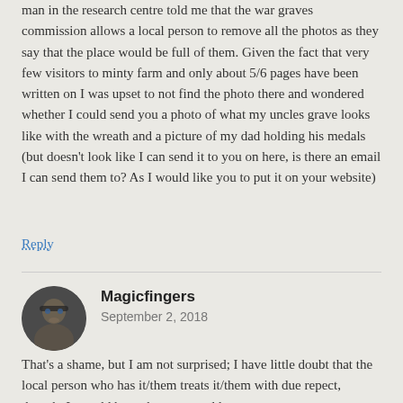man in the research centre told me that the war graves commission allows a local person to remove all the photos as they say that the place would be full of them. Given the fact that very few visitors to minty farm and only about 5/6 pages have been written on I was upset to not find the photo there and wondered whether I could send you a photo of what my uncles grave looks like with the wreath and a picture of my dad holding his medals (but doesn't look like I can send it to you on here, is there an email I can send them to? As I would like you to put it on your website)
Reply
Magicfingers
September 2, 2018
That's a shame, but I am not surprised; I have little doubt that the local person who has it/them treats it/them with due repect, though. It would be an honour to add your